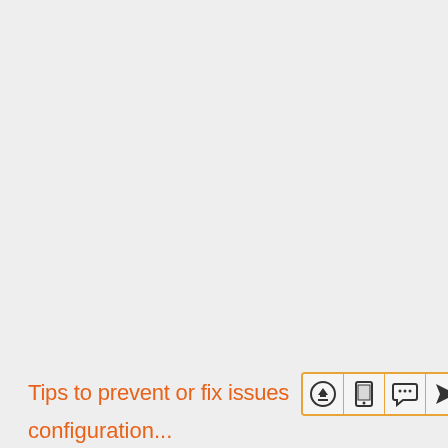[Figure (screenshot): Large light gray empty area filling most of the page, representing a blank document or UI area.]
Tips to prevent or fix issues
[Figure (infographic): Icon bar with 4 icons: upload/share arrow circle, mobile phone/tablet, speech bubble/chat, and navigation arrow. Enclosed in an orange border.]
configuration...